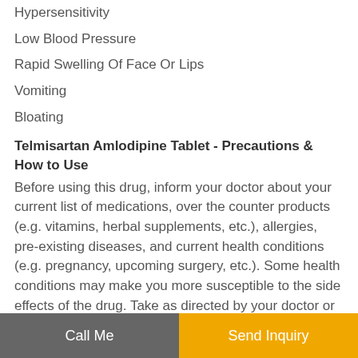Hypersensitivity
Low Blood Pressure
Rapid Swelling Of Face Or Lips
Vomiting
Bloating
Telmisartan Amlodipine Tablet - Precautions & How to Use
Before using this drug, inform your doctor about your current list of medications, over the counter products (e.g. vitamins, herbal supplements, etc.), allergies, pre-existing diseases, and current health conditions (e.g. pregnancy, upcoming surgery, etc.). Some health conditions may make you more susceptible to the side effects of the drug. Take as directed by your doctor or follow the direction printed on the product insert. Dosage is based on your condition. Tell your doctor if your condition persists or worsens. Important counseling points are listed below.
Call Me | Send Inquiry